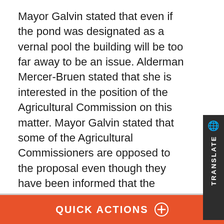Mayor Galvin stated that even if the pond was designated as a vernal pool the building will be too far away to be an issue. Alderman Mercer-Bruen stated that she is interested in the position of the Agricultural Commission on this matter. Mayor Galvin stated that some of the Agricultural Commissioners are opposed to the proposal even though they have been informed that the farmers' market will remain, that the school gymnasium and auditorium will be closer to the farm building, that the location of the school building will enhance the walking path which will also remain, and that the mixed use of the school and farm is desirable. Alderman Mercer-Bruen stated that 620 Washington Street in Winchester had flooding which was a great concern, and that they were able to mitigate that issue. Alderman Gaffney stated that there could be a greenhouse on the 41 Wyman Street site in order to use
QUICK ACTIONS ⊕